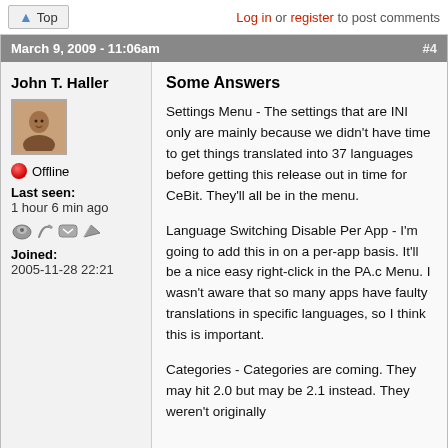Top | Log in or register to post comments
March 9, 2009 - 11:06am  #4
John T. Haller
Offline
Last seen: 1 hour 6 min ago
Joined: 2005-11-28 22:21
Some Answers
Settings Menu - The settings that are INI only are mainly because we didn't have time to get things translated into 37 languages before getting this release out in time for CeBit. They'll all be in the menu.
Language Switching Disable Per App - I'm going to add this in on a per-app basis. It'll be a nice easy right-click in the PA.c Menu. I wasn't aware that so many apps have faulty translations in specific languages, so I think this is important.
Categories - Categories are coming. They may hit 2.0 but may be 2.1 instead. They weren't originally